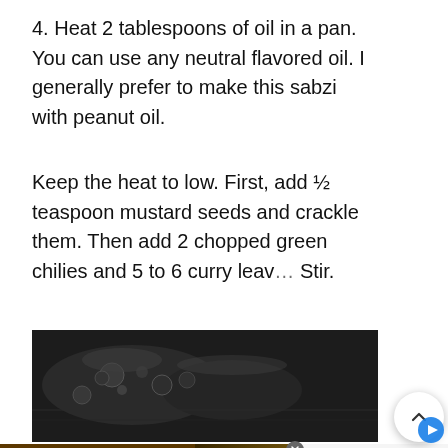4. Heat 2 tablespoons of oil in a pan. You can use any neutral flavored oil. I generally prefer to make this sabzi with peanut oil.
Keep the heat to low. First, add ½ teaspoon mustard seeds and crackle them. Then add 2 chopped green chilies and 5 to 6 curry leaves. Stir.
[Figure (photo): Dark wok/pan with oil droplets and cooking surface visible, overhead view]
[Figure (photo): Advertisement banner: dark brown background with yellow bold text 'SO YOU CAN FOCUS ON THIS', colorful food/table scene in center, Novavax ad on right with Learn More button]